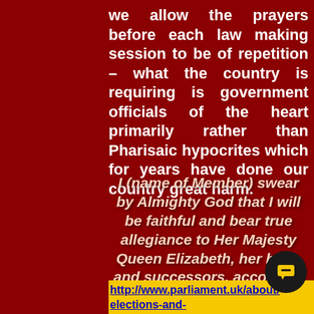we allow the prayers before each law making session to be of repetition – what the country is requiring is government officials of the heart primarily rather than Pharisaic hypocrites which for years have done our country great harm.
I (name of Member) swear by Almighty God that I will be faithful and bear true allegiance to Her Majesty Queen Elizabeth, her heirs and successors, according to law. So help me God.
http://www.parliament.uk/about/ elections-and-